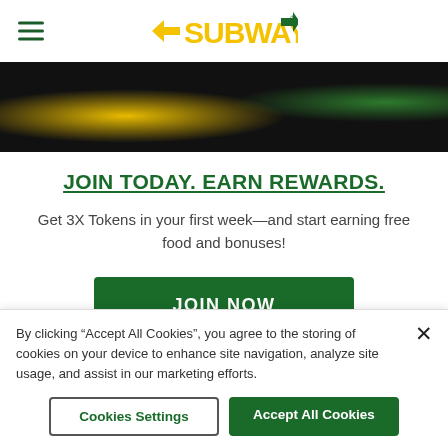SUBWAY (logo with hamburger menu icon)
[Figure (photo): Dark hero image strip showing partial food/ingredients on black background with yellow and green accents]
JOIN TODAY. EARN REWARDS.
Get 3X Tokens in your first week—and start earning free food and bonuses!
JOIN NOW (button)
[Figure (photo): Colorful blurred image strip of food ingredients]
By clicking “Accept All Cookies”, you agree to the storing of cookies on your device to enhance site navigation, analyze site usage, and assist in our marketing efforts.
Cookies Settings | Accept All Cookies (buttons)